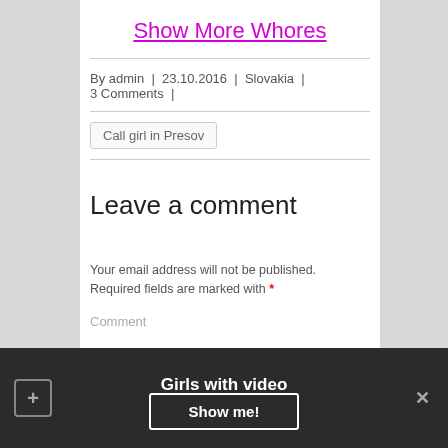Show More Whores
By admin  |  23.10.2016  |  Slovakia  |  3 Comments  |
Call girl in Presov
Leave a comment
Your email address will not be published. Required fields are marked with *
Comment
Girls with video
Show me!